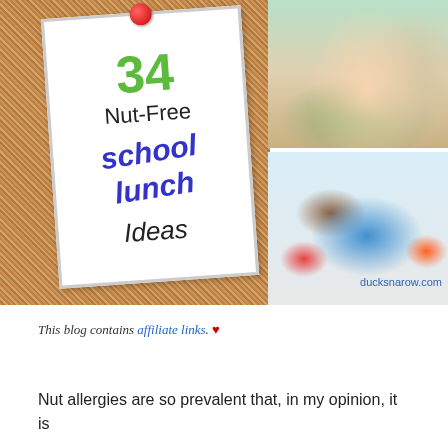[Figure (illustration): Collage image showing a corkboard with a pinned note reading '34 Nut-Free school lunch Ideas', alongside two photos: children eating at a table (top right) and a blue lunch box with sandwich, apple, orange, and milk cup (bottom right). Website URL 'ducksnarow.com' shown at bottom right.]
This blog contains affiliate links. ♥
Nut allergies are so prevalent that, in my opinion, it is